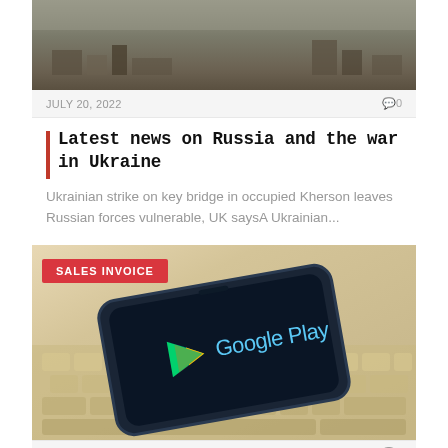[Figure (photo): Top portion of a war/conflict scene photo, partially cropped]
JULY 20, 2022   🗨 0
Latest news on Russia and the war in Ukraine
Ukrainian strike on key bridge in occupied Kherson leaves Russian forces vulnerable, UK saysA Ukrainian...
[Figure (photo): Phone showing Google Play store logo on screen, resting on a keyboard. Red badge reads SALES INVOICE.]
JULY 19, 2022   🗨 0